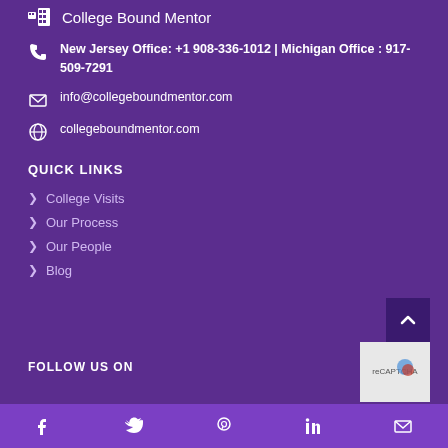College Bound Mentor
New Jersey Office: +1 908-336-1012 | Michigan Office : 917-509-7291
info@collegeboundmentor.com
collegeboundmentor.com
QUICK LINKS
College Visits
Our Process
Our People
Blog
FOLLOW US ON
Facebook | Twitter | Pinterest | LinkedIn | Email